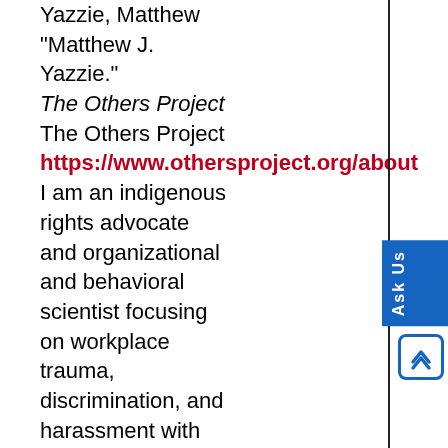Yazzie, Matthew "Matthew J. Yazzie."
The Others Project
The Others Project
https://www.othersproject.org/about
I am an indigenous rights advocate and organizational and behavioral scientist focusing on workplace trauma, discrimination, and harassment with seventeen years of diversity, equity and inclusion experience in tech. Currently, I am a Strategic Director at Collective, a DEI Lab, where I am focused on bringing comprehensive, measurable